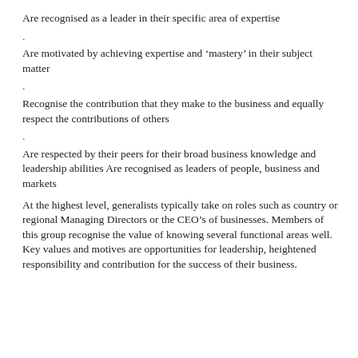Are recognised as a leader in their specific area of expertise
.
Are motivated by achieving expertise and ‘mastery’ in their subject matter
.
Recognise the contribution that they make to the business and equally respect the contributions of others
.
Are respected by their peers for their broad business knowledge and leadership abilities Are recognised as leaders of people, business and markets
At the highest level, generalists typically take on roles such as country or regional Managing Directors or the CEO’s of businesses. Members of this group recognise the value of knowing several functional areas well. Key values and motives are opportunities for leadership, heightened responsibility and contribution for the success of their business.